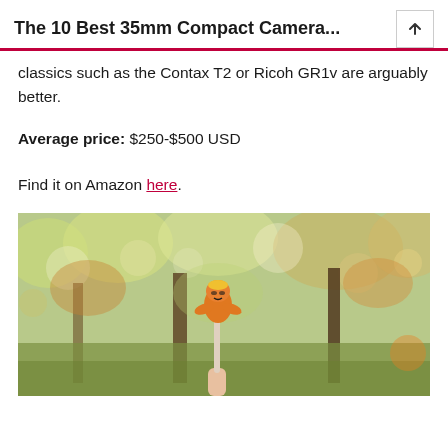The 10 Best 35mm Compact Camera...
classics such as the Contax T2 or Ricoh GR1v are arguably better.
Average price: $250-$500 USD
Find it on Amazon here.
[Figure (photo): A person holding a small orange animal-shaped figurine/toy on a stick in an outdoor park setting with autumn trees and bokeh background.]